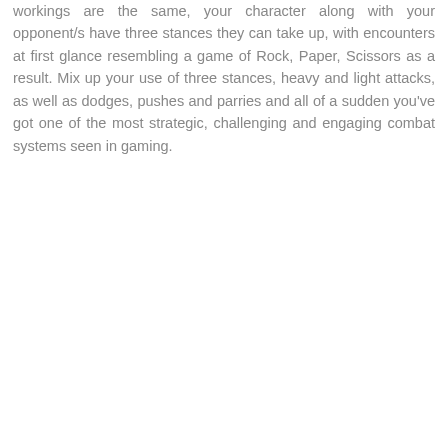workings are the same, your character along with your opponent/s have three stances they can take up, with encounters at first glance resembling a game of Rock, Paper, Scissors as a result. Mix up your use of three stances, heavy and light attacks, as well as dodges, pushes and parries and all of a sudden you've got one of the most strategic, challenging and engaging combat systems seen in gaming.